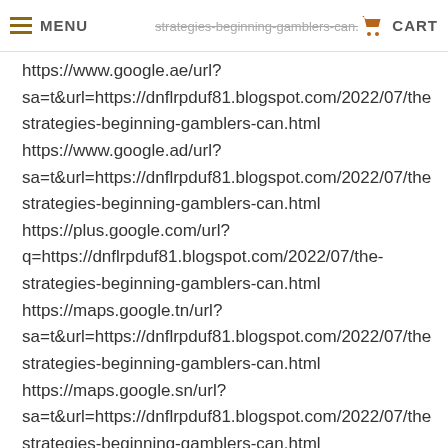MENU | strategies-beginning-gamblers-can.html | CART
https://www.google.ae/url?
sa=t&url=https://dnflrpduf81.blogspot.com/2022/07/the-strategies-beginning-gamblers-can.html
https://www.google.ad/url?
sa=t&url=https://dnflrpduf81.blogspot.com/2022/07/the-strategies-beginning-gamblers-can.html
https://plus.google.com/url?
q=https://dnflrpduf81.blogspot.com/2022/07/the-strategies-beginning-gamblers-can.html
https://maps.google.tn/url?
sa=t&url=https://dnflrpduf81.blogspot.com/2022/07/the-strategies-beginning-gamblers-can.html
https://maps.google.sn/url?
sa=t&url=https://dnflrpduf81.blogspot.com/2022/07/the-strategies-beginning-gamblers-can.html